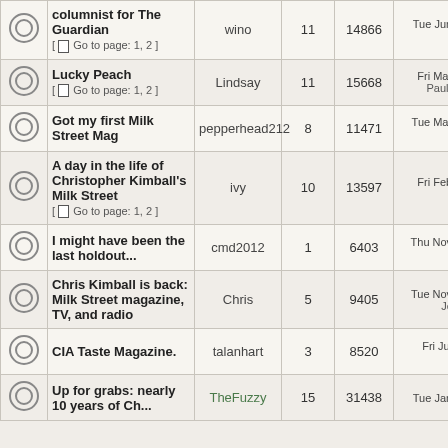|  | Topic | Author | Replies | Views | Last Post |
| --- | --- | --- | --- | --- | --- |
| [icon] | columnist for The Guardian
[Go to page: 1, 2] | wino | 11 | 14866 | Tue Jun 20, 2017
alstro → |
| [icon] | Lucky Peach
[Go to page: 1, 2] | Lindsay | 11 | 15668 | Fri Mar 17, 2017
Paul Kierstead |
| [icon] | Got my first Milk Street Mag | pepperhead212 | 8 | 11471 | Tue Mar 07, 2017
Emilie → |
| [icon] | A day in the life of Christopher Kimball's Milk Street
[Go to page: 1, 2] | ivy | 10 | 13597 | Fri Feb 24, 2017
wino → |
| [icon] | I might have been the last holdout... | cmd2012 | 1 | 6403 | Thu Nov 10, 2016
wino → |
| [icon] | Chris Kimball is back: Milk Street magazine, TV, and radio | Chris | 5 | 9405 | Tue Nov 08, 2016
JesBelle → |
| [icon] | CIA Taste Magazine. | talanhart | 3 | 8520 | Fri Jul 08, 2016
wino → |
| [icon] | Up for grabs: nearly 10 years of Ch... | TheFuzzy | 15 | 31438 | Tue Jan 05, 2016 |